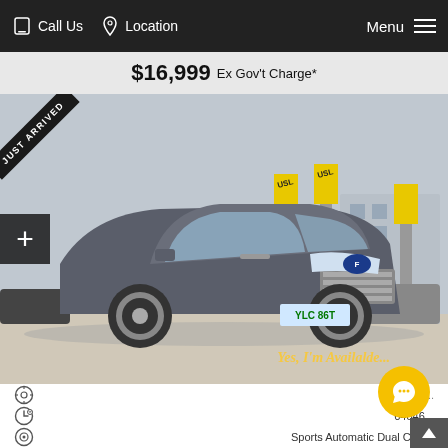Call Us   Location   Menu
$16,999 Ex Gov't Charge*
[Figure (photo): Gray Ford EcoSport SUV photographed at a used car dealership lot with yellow USL banners in background. 'JUST ARRIVED' ribbon in top-left corner. License plate YLC 86T visible. 'Yes, I'm Availalde...' text overlay in gold italic script at bottom right.]
Used Ve...
64846...
Sports Automatic Dual Clutch